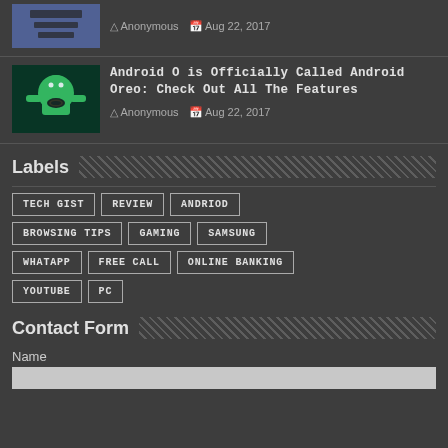[Figure (screenshot): Thumbnail image with blue/dark tones for first article]
Anonymous  Aug 22, 2017
[Figure (screenshot): Thumbnail image of Android Oreo mascot - green robot with Oreo cookie]
Android O is Officially Called Android Oreo: Check Out All The Features
Anonymous  Aug 22, 2017
Labels
TECH GIST
REVIEW
ANDRIOD
BROWSING TIPS
GAMING
SAMSUNG
WHATAPP
FREE CALL
ONLINE BANKING
YOUTUBE
PC
Contact Form
Name